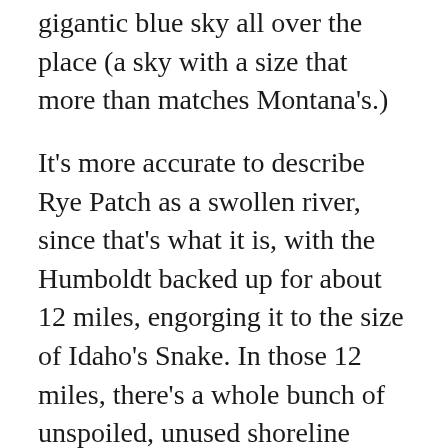gigantic blue sky all over the place (a sky with a size that more than matches Montana's.)
It's more accurate to describe Rye Patch as a swollen river, since that's what it is, with the Humboldt backed up for about 12 miles, engorging it to the size of Idaho's Snake. In those 12 miles, there's a whole bunch of unspoiled, unused shoreline quietly awaiting any boat campers willing to head upstream to take advantage. The payoff comes when